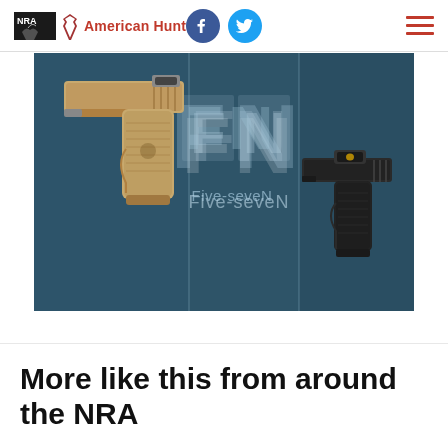NRA American Hunter
[Figure (photo): FN Five-seveN advertisement showing two pistols — a tan/FDE colored pistol on the left and a black pistol with red dot optic on the right, on a dark teal background with large FN logo and 'Five-seveN' text]
More like this from around the NRA